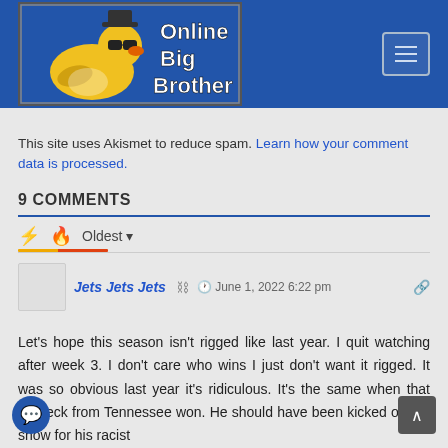[Figure (logo): Online Big Brother website header with rubber duck mascot wearing sunglasses and hat, blue background]
This site uses Akismet to reduce spam. Learn how your comment data is processed.
9 COMMENTS
Oldest
Jets Jets Jets  June 1, 2022 6:22 pm
Let's hope this season isn't rigged like last year. I quit watching after week 3. I don't care who wins I just don't want it rigged. It was so obvious last year it's ridiculous. It's the same when that redneck from Tennessee won. He should have been kicked off the show for his racist